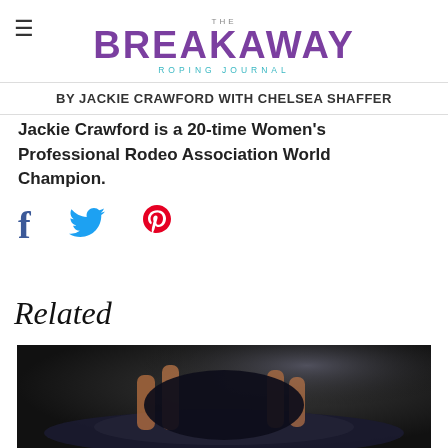THE BREAKAWAY ROPING JOURNAL
BY JACKIE CRAWFORD WITH CHELSEA SHAFFER
Jackie Crawford is a 20-time Women's Professional Rodeo Association World Champion.
[Figure (infographic): Social media share icons: Facebook (f), Twitter (bird), Pinterest (P)]
Related
[Figure (photo): Dark background photo showing hands holding a hat or rope, partial top of image visible]